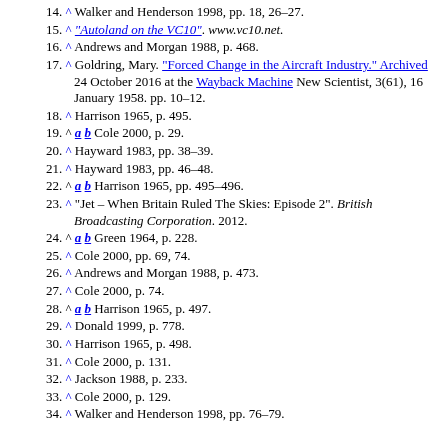14. ^ Walker and Henderson 1998, pp. 18, 26–27.
15. ^ "Autoland on the VC10". www.vc10.net.
16. ^ Andrews and Morgan 1988, p. 468.
17. ^ Goldring, Mary. "Forced Change in the Aircraft Industry." Archived 24 October 2016 at the Wayback Machine New Scientist, 3(61), 16 January 1958. pp. 10–12.
18. ^ Harrison 1965, p. 495.
19. ^ a b Cole 2000, p. 29.
20. ^ Hayward 1983, pp. 38–39.
21. ^ Hayward 1983, pp. 46–48.
22. ^ a b Harrison 1965, pp. 495–496.
23. ^ "Jet – When Britain Ruled The Skies: Episode 2". British Broadcasting Corporation. 2012.
24. ^ a b Green 1964, p. 228.
25. ^ Cole 2000, pp. 69, 74.
26. ^ Andrews and Morgan 1988, p. 473.
27. ^ Cole 2000, p. 74.
28. ^ a b Harrison 1965, p. 497.
29. ^ Donald 1999, p. 778.
30. ^ Harrison 1965, p. 498.
31. ^ Cole 2000, p. 131.
32. ^ Jackson 1988, p. 233.
33. ^ Cole 2000, p. 129.
34. ^ Walker and Henderson 1998, pp. 76–79.